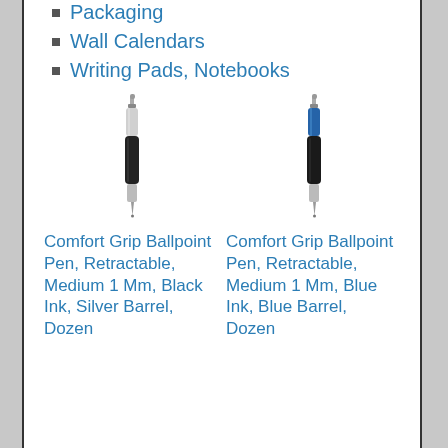Packaging
Wall Calendars
Writing Pads, Notebooks
[Figure (photo): Comfort Grip Ballpoint Pen, Retractable, Medium 1 Mm, Black Ink, Silver Barrel]
[Figure (photo): Comfort Grip Ballpoint Pen, Retractable, Medium 1 Mm, Blue Ink, Blue Barrel]
Comfort Grip Ballpoint Pen, Retractable, Medium 1 Mm, Black Ink, Silver Barrel, Dozen
Comfort Grip Ballpoint Pen, Retractable, Medium 1 Mm, Blue Ink, Blue Barrel, Dozen